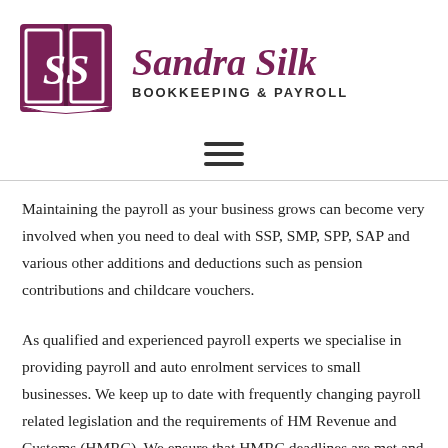[Figure (logo): Sandra Silk Bookkeeping & Payroll logo: a purple open book with 'SS' letters in white on the cover, beside the text 'Sandra Silk' in large italic purple font and 'BOOKKEEPING & PAYROLL' in bold black capitals beneath]
Maintaining the payroll as your business grows can become very involved when you need to deal with SSP, SMP, SPP, SAP and various other additions and deductions such as pension contributions and childcare vouchers.
As qualified and experienced payroll experts we specialise in providing payroll and auto enrolment services to small businesses. We keep up to date with frequently changing payroll related legislation and the requirements of HM Revenue and Customs (HMRC). We ensure that HMRC deadlines are met and can deal with